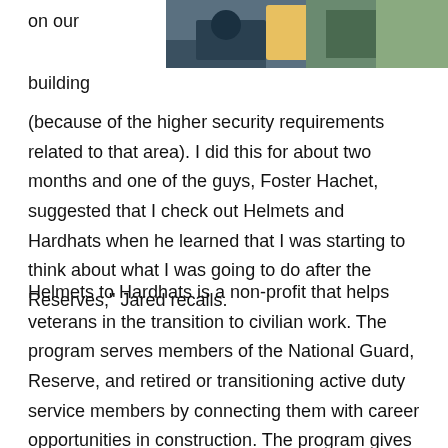[Figure (photo): Partial photo of people in construction/work gear at top right of page]
on our
building
(because of the higher security requirements related to that area). I did this for about two months and one of the guys, Foster Hachet, suggested that I check out Helmets and Hardhats when he learned that I was starting to think about what I was going to do after the Reserves," Jared recalls.
Helmets to Hardhats is a non-profit that helps veterans in the transition to civilian work. The program serves members of the National Guard, Reserve, and retired or transitioning active duty service members by connecting them with career opportunities in construction. The program gives veterans the chance to transition without stress and apply skills they've learned through military...